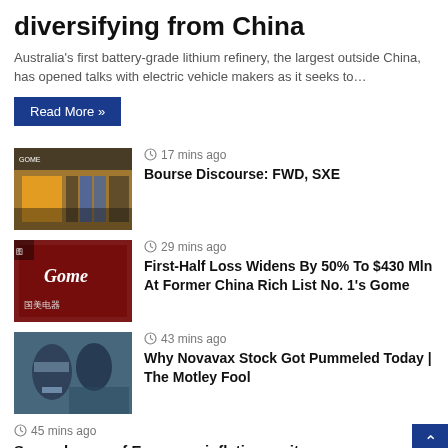diversifying from China
Australia's first battery-grade lithium refinery, the largest outside China, has opened talks with electric vehicle makers as it seeks to…
Read More »
[Figure (photo): Storefront with blue display screens and glass doors]
17 mins ago
Bourse Discourse: FWD, SXE
[Figure (photo): Gome store sign in red and black with Chinese characters]
29 mins ago
First-Half Loss Widens By 50% To $430 Mln At Former China Rich List No. 1's Gome
[Figure (photo): Medical workers in masks and protective gear]
43 mins ago
Why Novavax Stock Got Pummeled Today | The Motley Fool
45 mins ago
Second wave of European inflation on its way, as energy crisis sees costs spiral